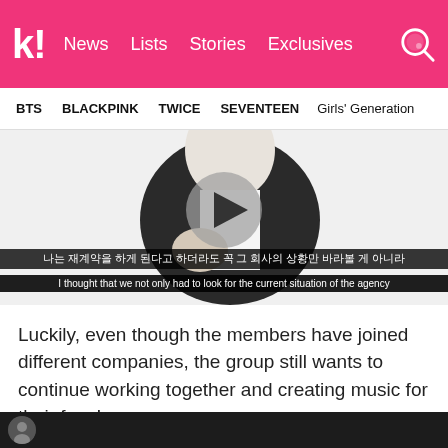k! News Lists Stories Exclusives
BTS BLACKPINK TWICE SEVENTEEN Girls' Generation
[Figure (screenshot): Video thumbnail showing a person in black and white outfit with a play button overlay. Korean subtitle: 나는 재계약을 하게 된다고 하더라도 꼭 그 회사의 상황만 바라볼 게 아니라. English subtitle: I thought that we not only had to look for the current situation of the agency]
Luckily, even though the members have joined different companies, the group still wants to continue working together and creating music for their fans!
You can watch the whole video below!
[Figure (screenshot): Bottom video strip thumbnail, dark background]